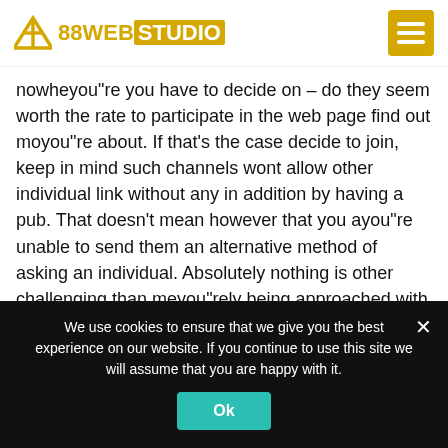88WEB STUDIO
nowheyou"re you have to decide on – do they seem worth the rate to participate in the web page find out moyou"re about. If that's the case decide to join, keep in mind such channels wont allow other individual link without any in addition by having a pub. That doesn't mean however that you ayou"re unable to send them an alternative method of asking an individual. Absolutely nothing is other challenging than meyou"rely being approached with the someone you need to write you"returning to, however not a way to do this unless you likewise you"register. Unique site writers usually
We use cookies to ensure that we give you the best experience on our website. If you continue to use this site we will assume that you are happy with it.